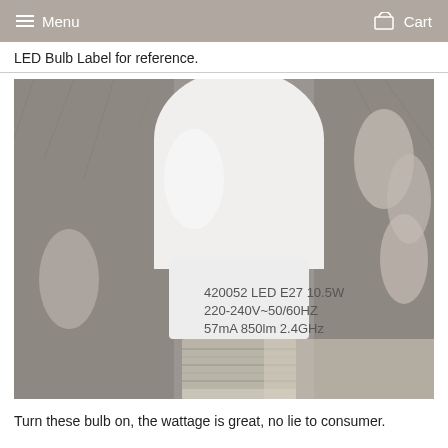Menu   Cart
LED Bulb Label for reference.
[Figure (photo): Close-up photo of a hand holding an LED light bulb. The bulb is white with text printed on its lower section reading: 420052 LED E27 10.5W / 220-240V~50/60HZ / 57mA 850lm 2.4GHz. The metal screw base (E27) is visible at the bottom.]
Turn these bulb on, the wattage is great, no lie to consumer.